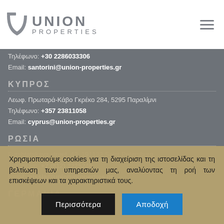[Figure (logo): Union Properties logo with stylized U icon and text UNION PROPERTIES]
Τηλέφωνο: +30 2286033306
Email: santorini@union-properties.gr
ΚΥΠΡΟΣ
Λεωφ. Πρωταρά-Κάβο Γκρέκο 284, 5295 Παραλίμνι
Τηλέφωνο: +357 23811058
Email: cyprus@union-properties.gr
ΡΩΣΙΑ
Furshtatskaya street, 43, 191123 Saint Petersburg
Τηλέφωνο: +7 (812) 3225246
Email: russia@union-properties.gr
ΓΕΡΜΑΝΙΑ
Χρησιμοποιούμε cookies για τη διαχείριση της ιστοσελίδας και τη βελτίωση των υπηρεσιών μας, αναλύοντας τη ροή των επισκέψεων και τα χαρακτηριστικά τους.
Περισσότερα | Αποδοχή